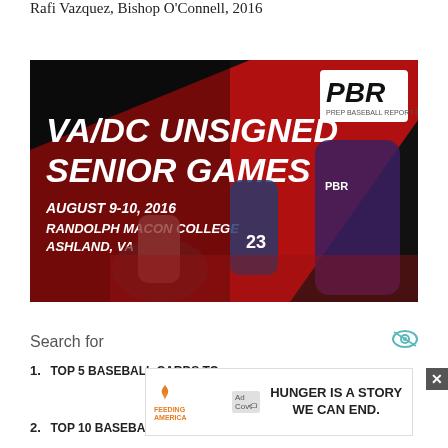Rafi Vazquez, Bishop O'Connell, 2016
[Figure (photo): PBR VA/DC Unsigned Senior Games advertisement banner. Black background with diagonal red stripe. White bold text: VA/DC UNSIGNED SENIOR GAMES. AUGUST 9-10, 2016. RANDOLPH MACON COLLEGE ASHLAND, VA. PBR logo top right. Photos of baseball players pitching and fielding.]
Search for
1. TOP 5 BASEBALL CARDS TO
[Figure (other): Feeding America advertisement overlay. Orange Feeding America logo on left with Ad badge. Bold black text: HUNGER IS A STORY WE CAN END.]
2. TOP 10 BASEBALL CARDS